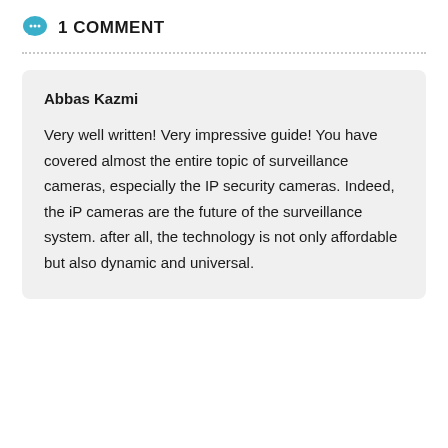1 COMMENT
Abbas Kazmi
Very well written! Very impressive guide! You have covered almost the entire topic of surveillance cameras, especially the IP security cameras. Indeed, the iP cameras are the future of the surveillance system. after all, the technology is not only affordable but also dynamic and universal.